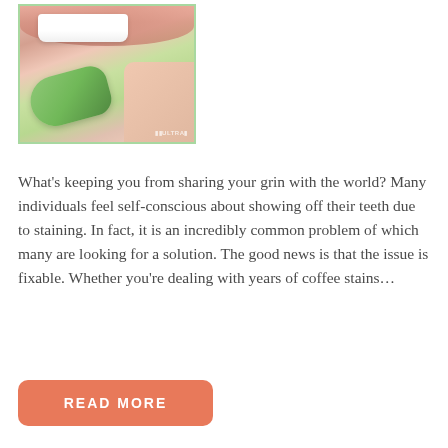[Figure (photo): Close-up photo of a person's mouth/lips with white teeth showing, holding a green dental whitening tray. A watermark reading 'ULTRA' is visible in the lower right corner of the image. The image has a green border.]
What's keeping you from sharing your grin with the world? Many individuals feel self-conscious about showing off their teeth due to staining. In fact, it is an incredibly common problem of which many are looking for a solution. The good news is that the issue is fixable. Whether you're dealing with years of coffee stains…
READ MORE